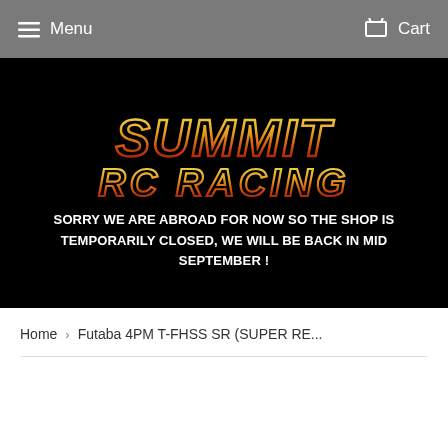Menu   Cart
[Figure (screenshot): Summit RC Racing logo on black background — large stylized metallic text with gold/red gradient outlines reading SUMMIT RC RACING in a heavy rock-band-style font]
SORRY WE ARE ABROAD FOR NOW SO THE SHOP IS TEMPORARILY CLOSED, WE WILL BE BACK IN MID SEPTEMBER !
Home  >  Futaba 4PM T-FHSS SR (SUPER RE...